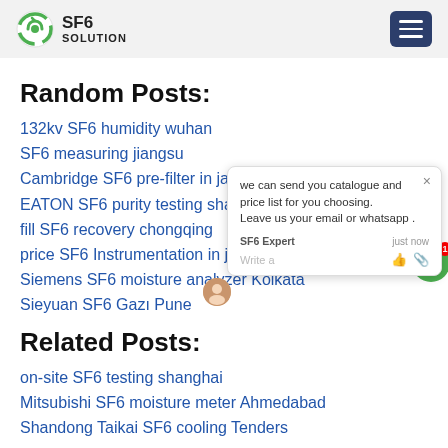SF6 SOLUTION
Random Posts:
132kv SF6 humidity wuhan
SF6 measuring jiangsu
Cambridge SF6 pre-filter in jakarta
EATON SF6 purity testing shanghai
fill SF6 recovery chongqing
price SF6 Instrumentation in jakarta
Siemens SF6 moisture analyzer Kolkata
Sieyuan SF6 Gazı Pune
Related Posts:
on-site SF6 testing shanghai
Mitsubishi SF6 moisture meter Ahmedabad
Shandong Taikai SF6 cooling Tenders